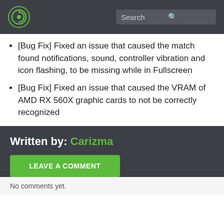Search
[Bug Fix] Fixed an issue that caused the match found notifications, sound, controller vibration and icon flashing, to be missing while in Fullscreen
[Bug Fix] Fixed an issue that caused the VRAM of AMD RX 560X graphic cards to not be correctly recognized
Written by: Carizma
LEAVE A COMMENT
No comments yet.